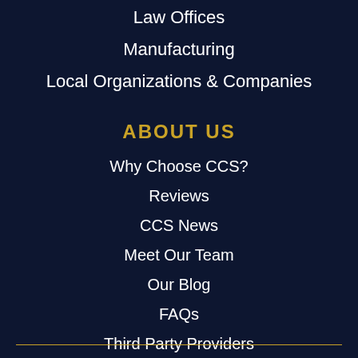Law Offices
Manufacturing
Local Organizations & Companies
ABOUT US
Why Choose CCS?
Reviews
CCS News
Meet Our Team
Our Blog
FAQs
Third Party Providers